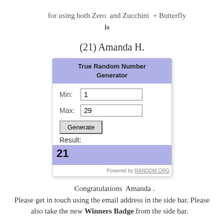for using both Zero  and Zucchini  + Butterfly is
(21) Amanda H.
[Figure (screenshot): True Random Number Generator widget showing Min: 1, Max: 29, Generate button, Result: 21, Powered by RANDOM.ORG]
Congratulations  Amanda . Please get in touch using the email address in the side bar. Please also take the new Winners Badge from the side bar.